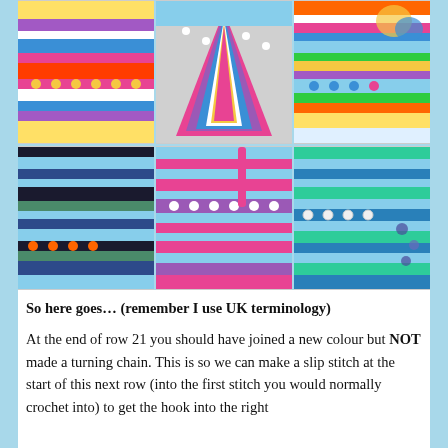[Figure (photo): 3x2 grid of six photos showing various colorful crochet projects with striped patterns, bobbles, and textured stitches in bright multicolored yarns]
So here goes… (remember I use UK terminology)
At the end of row 21 you should have joined a new colour but NOT made a turning chain. This is so we can make a slip stitch at the start of this next row (into the first stitch you would normally crochet into) to get the hook into the right